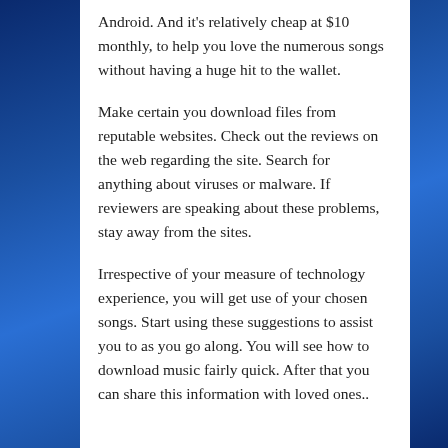Android. And it's relatively cheap at $10 monthly, to help you love the numerous songs without having a huge hit to the wallet.
Make certain you download files from reputable websites. Check out the reviews on the web regarding the site. Search for anything about viruses or malware. If reviewers are speaking about these problems, stay away from the sites.
Irrespective of your measure of technology experience, you will get use of your chosen songs. Start using these suggestions to assist you to as you go along. You will see how to download music fairly quick. After that you can share this information with loved ones..